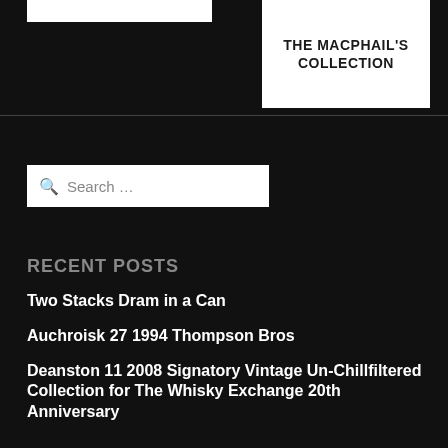[Figure (other): White rectangle box at top left, partial UI element]
THE MACPHAIL'S COLLECTION
RECENT POSTS
Two Stacks Dram in a Can
Auchroisk 27 1994 Thompson Bros
Deanston 11 2008 Signatory Vintage Un-Chillfiltered Collection for The Whisky Exchange 20th Anniversary